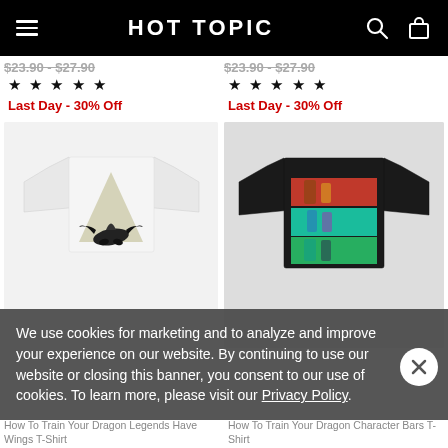HOT TOPIC
$23.90 - $27.90   $23.90 - $27.90
★★★★★   ★★★★★
Last Day - 30% Off   Last Day - 30% Off
[Figure (photo): White t-shirt with How To Train Your Dragon Legends Have Wings design showing Toothless dragon against mountain background]
[Figure (photo): Black t-shirt with How To Train Your Dragon Character Bars design showing colored horizontal bars with characters]
We use cookies for marketing and to analyze and improve your experience on our website. By continuing to use our website or closing this banner, you consent to our use of cookies. To learn more, please visit our Privacy Policy.
How To Train Your Dragon Legends Have Wings T-Shirt
How To Train Your Dragon Character Bars T-Shirt